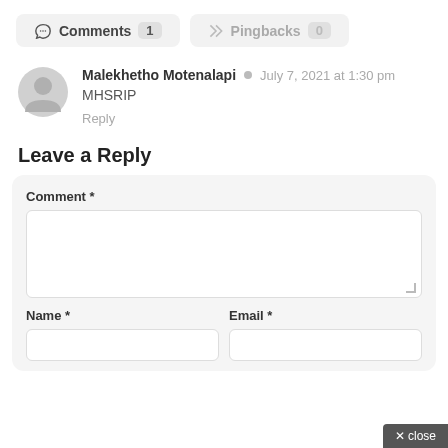Comments 1
Pingbacks 0
Malekhetho Motenalapi  July 7, 2021 at 1:30 pm
MHSRIP
Reply
Leave a Reply
Comment *
Name *
Email *